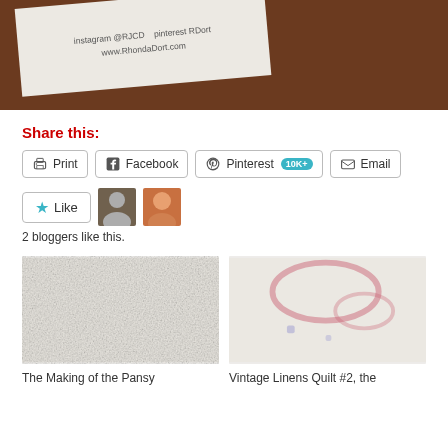[Figure (photo): Photo of a business card on a wooden surface, showing text: instagram @RJCD, pinterest RDort, www.RhondaDort.com]
Share this:
Print | Facebook | Pinterest 10K+ | Email
Like | [avatar 1] [avatar 2]
2 bloggers like this.
[Figure (photo): Photo of white quilt/linen fabric - The Making of the Pansy]
[Figure (photo): Photo of white linen with pink/red markings - Vintage Linens Quilt #2, the]
The Making of the Pansy
Vintage Linens Quilt #2, the